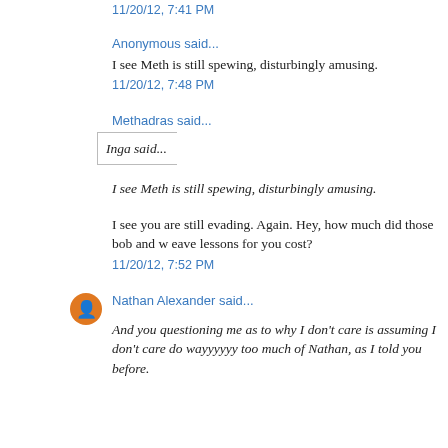11/20/12, 7:41 PM
Anonymous said...
I see Meth is still spewing, disturbingly amusing.
11/20/12, 7:48 PM
Methadras said...
Inga said...
I see Meth is still spewing, disturbingly amusing.
I see you are still evading. Again. Hey, how much did those bob and w lessons for you cost?
11/20/12, 7:52 PM
Nathan Alexander said...
And you questioning me as to why I don't care is assuming I don't care do wayyyyyy too much of Nathan, as I told you before.